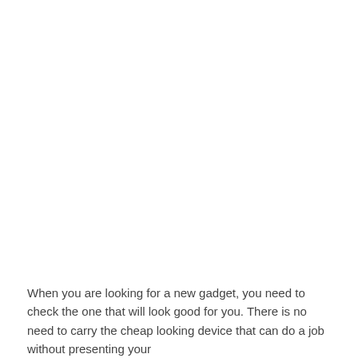When you are looking for a new gadget, you need to check the one that will look good for you. There is no need to carry the cheap looking device that can do a job without presenting your